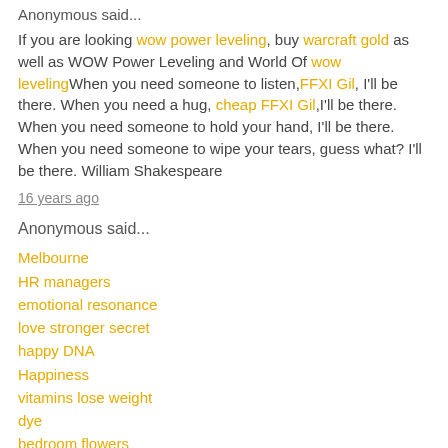Anonymous said...
If you are looking wow power leveling, buy warcraft gold as well as WOW Power Leveling and World Of wow levelingWhen you need someone to listen,FFXI Gil, I'll be there. When you need a hug, cheap FFXI Gil,I'll be there. When you need someone to hold your hand, I'll be there. When you need someone to wipe your tears, guess what? I'll be there. William Shakespeare
16 years ago
Anonymous said...
Melbourne
HR managers
emotional resonance
love stronger secret
happy DNA
Happiness
vitamins lose weight
dye
bedroom flowers
Watchmen
Walk stone
children